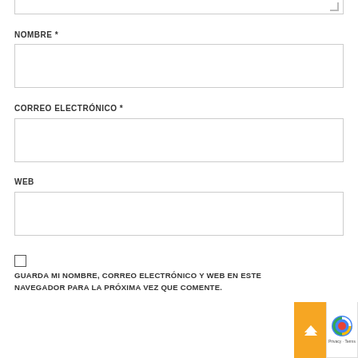[Figure (screenshot): Bottom portion of a textarea input field with resize handle]
NOMBRE *
[Figure (screenshot): Text input field for NOMBRE (name)]
CORREO ELECTRÓNICO *
[Figure (screenshot): Text input field for CORREO ELECTRÓNICO (email)]
WEB
[Figure (screenshot): Text input field for WEB (website)]
GUARDA MI NOMBRE, CORREO ELECTRÓNICO Y WEB EN ESTE NAVEGADOR PARA LA PRÓXIMA VEZ QUE COMENTE.